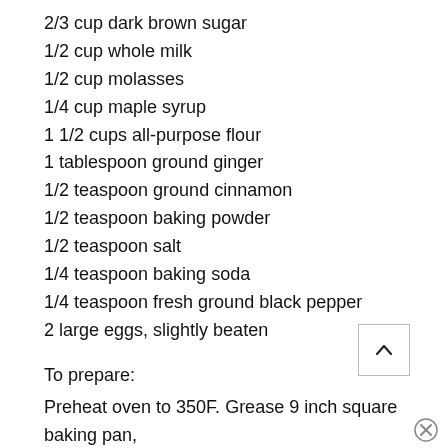2/3 cup dark brown sugar
1/2 cup whole milk
1/2 cup molasses
1/4 cup maple syrup
1 1/2 cups all-purpose flour
1 tablespoon ground ginger
1/2 teaspoon ground cinnamon
1/2 teaspoon baking powder
1/2 teaspoon salt
1/4 teaspoon baking soda
1/4 teaspoon fresh ground black pepper
2 large eggs, slightly beaten
To prepare:
Preheat oven to 350F. Grease 9 inch square baking pan, then line pan with parchment paper.